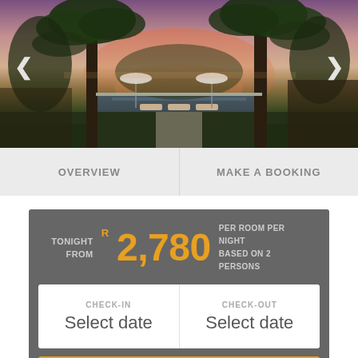[Figure (photo): Tropical resort at dusk with palm trees, a reflecting pool/infinity pool, loungers, and parasols overlooking a body of water under a purple-pink sunset sky.]
OVERVIEW
MAKE A BOOKING
TONIGHT FROM R 2,780 PER ROOM PER NIGHT BASED ON 2 PERSONS
CHECK-IN Select date
CHECK-OUT Select date
GET A QUOTE